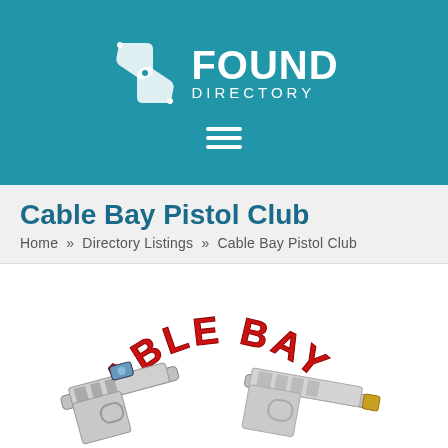[Figure (logo): Found Directory logo with stylized 'F' icon in white and text FOUND DIRECTORY in white on teal background, plus hamburger menu icon]
Cable Bay Pistol Club
Home » Directory Listings » Cable Bay Pistol Club
[Figure (photo): Cable Bay Pistol Club logo/image showing red arched text 'CABLE BAY' above two pistols/handguns on white background]